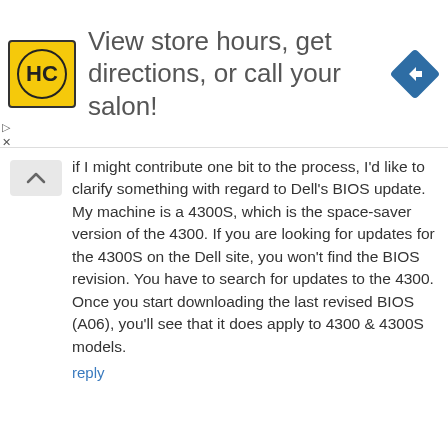[Figure (screenshot): Advertisement banner with HC logo, text 'View store hours, get directions, or call your salon!', and a blue direction arrow diamond icon]
if I might contribute one bit to the process, I'd like to clarify something with regard to Dell's BIOS update. My machine is a 4300S, which is the space-saver version of the 4300. If you are looking for updates for the 4300S on the Dell site, you won't find the BIOS revision. You have to search for updates to the 4300. Once you start downloading the last revised BIOS (A06), you'll see that it does apply to 4300 & 4300S models.
reply
SL7EY worked flawlessly
Permalink Submitted by dtlove (not verified) on Wed, 2010/01/14 - 14:38